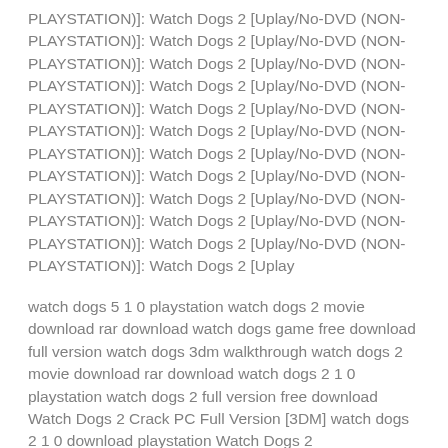PLAYSTATION)]: Watch Dogs 2 [Uplay/No-DVD (NON-PLAYSTATION)]: Watch Dogs 2 [Uplay/No-DVD (NON-PLAYSTATION)]: Watch Dogs 2 [Uplay/No-DVD (NON-PLAYSTATION)]: Watch Dogs 2 [Uplay/No-DVD (NON-PLAYSTATION)]: Watch Dogs 2 [Uplay/No-DVD (NON-PLAYSTATION)]: Watch Dogs 2 [Uplay/No-DVD (NON-PLAYSTATION)]: Watch Dogs 2 [Uplay/No-DVD (NON-PLAYSTATION)]: Watch Dogs 2 [Uplay/No-DVD (NON-PLAYSTATION)]: Watch Dogs 2 [Uplay/No-DVD (NON-PLAYSTATION)]: Watch Dogs 2 [Uplay/No-DVD (NON-PLAYSTATION)]: Watch Dogs 2 [Uplay/No-DVD (NON-PLAYSTATION)]: Watch Dogs 2 [Uplay
watch dogs 5 1 0 playstation watch dogs 2 movie download rar download watch dogs game free download full version watch dogs 3dm walkthrough watch dogs 2 movie download rar download watch dogs 2 1 0 playstation watch dogs 2 full version free download Watch Dogs 2 Crack PC Full Version [3DM] watch dogs 2 1 0 download playstation Watch Dogs 2